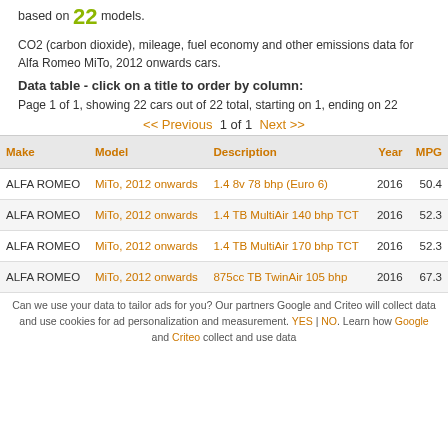based on 22 models.
CO2 (carbon dioxide), mileage, fuel economy and other emissions data for Alfa Romeo MiTo, 2012 onwards cars.
Data table - click on a title to order by column:
Page 1 of 1, showing 22 cars out of 22 total, starting on 1, ending on 22
<< Previous  1 of 1  Next >>
| Make | Model | Description | Year | MPG |
| --- | --- | --- | --- | --- |
| ALFA ROMEO | MiTo, 2012 onwards | 1.4 8v 78 bhp (Euro 6) | 2016 | 50.4 |
| ALFA ROMEO | MiTo, 2012 onwards | 1.4 TB MultiAir 140 bhp TCT | 2016 | 52.3 |
| ALFA ROMEO | MiTo, 2012 onwards | 1.4 TB MultiAir 170 bhp TCT | 2016 | 52.3 |
| ALFA ROMEO | MiTo, 2012 onwards | 875cc TB TwinAir 105 bhp | 2016 | 67.3 |
Can we use your data to tailor ads for you? Our partners Google and Criteo will collect data and use cookies for ad personalization and measurement. YES | NO. Learn how Google and Criteo collect and use data